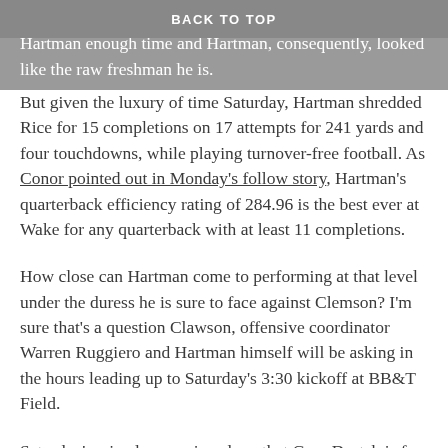BACK TO TOP
quarterback trouble was, BC and Notre Dame didn't give Hartman enough time and Hartman, consequently, looked like the raw freshman he is.
But given the luxury of time Saturday, Hartman shredded Rice for 15 completions on 17 attempts for 241 yards and four touchdowns, while playing turnover-free football. As Conor pointed out in Monday's follow story, Hartman's quarterback efficiency rating of 284.96 is the best ever at Wake for any quarterback with at least 11 completions.
How close can Hartman come to performing at that level under the duress he is sure to face against Clemson? I'm sure that's a question Clawson, offensive coordinator Warren Ruggiero and Hartman himself will be asking in the hours leading up to Saturday's 3:30 kickoff at BB&T Field.
Saturday's win also convinced me that Greg Dortch is far too great a weapon to allow to run free through the